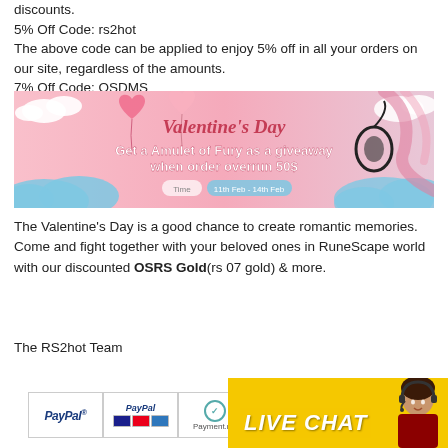discounts.
5% Off Code: rs2hot
The above code can be applied to enjoy 5% off in all your orders on our site, regardless of the amounts.
7% Off Code: OSDMS
[Figure (illustration): Valentine's Day promotional banner with pink background, hearts, clouds, and text: 'Valentine's Day - Get a Amulet of Fury as a giveaway when order overrun 50$'. Time: 11th Feb - 14th Feb.]
The Valentine's Day is a good chance to create romantic memories. Come and fight together with your beloved ones in RuneScape world with our discounted OSRS Gold(rs 07 gold) & more.
The RS2hot Team
[Figure (other): Footer bar with payment icons: PayPal, PayPal credit cards, Payment.net, Skrill logos, and a Live Chat overlay with a customer service agent photo.]